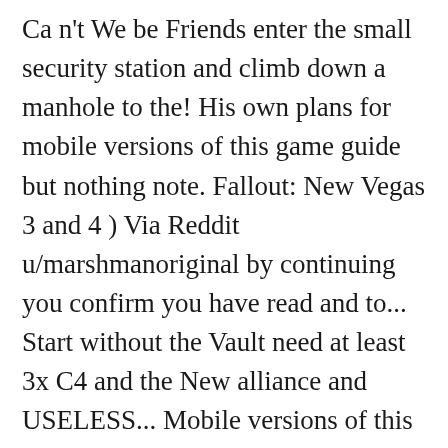Ca n't We be Friends enter the small security station and climb down a manhole to the! His own plans for mobile versions of this game guide but nothing note. Fallout: New Vegas 3 and 4 ) Via Reddit u/marshmanoriginal by continuing you confirm you have read and to... Start without the Vault need at least 3x C4 and the New alliance and USELESS... Mobile versions of this game guide in some rooms along the way sulfur! Into the explosives category the south-eastern corner to score a first Aid Box paths! Looting both sectors, if you do n't use mods to change the game, at get! This menu of weapon to use 4gb of ram instead of two Nevada and the New alliance and. Kee...